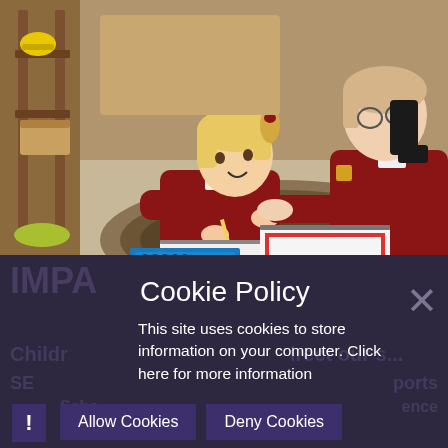[Figure (photo): Two young children in red school uniforms lying on a classroom floor, writing on clipboards with educational materials around them]
Cookie Policy
This site uses cookies to store information on your computer. Click here for more information
Allow Cookies
Deny Cookies